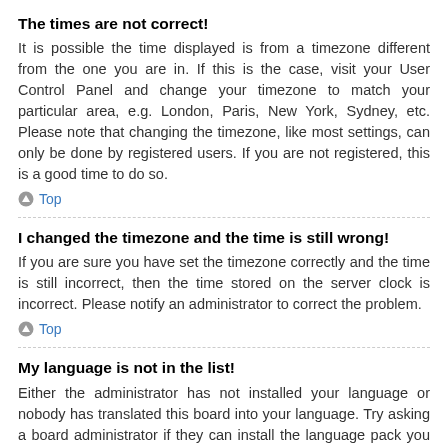The times are not correct!
It is possible the time displayed is from a timezone different from the one you are in. If this is the case, visit your User Control Panel and change your timezone to match your particular area, e.g. London, Paris, New York, Sydney, etc. Please note that changing the timezone, like most settings, can only be done by registered users. If you are not registered, this is a good time to do so.
Top
I changed the timezone and the time is still wrong!
If you are sure you have set the timezone correctly and the time is still incorrect, then the time stored on the server clock is incorrect. Please notify an administrator to correct the problem.
Top
My language is not in the list!
Either the administrator has not installed your language or nobody has translated this board into your language. Try asking a board administrator if they can install the language pack you need. If the